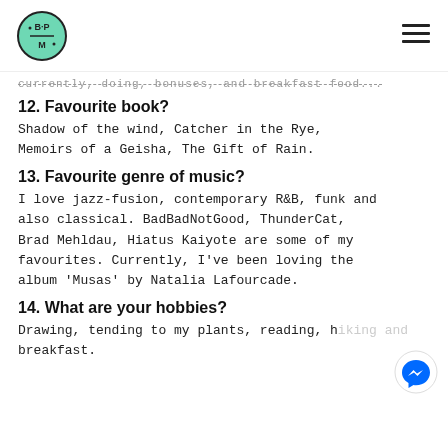BPM logo and navigation
...currently, doing, bonuses, and breakfast food...
12. Favourite book?
Shadow of the wind, Catcher in the Rye, Memoirs of a Geisha, The Gift of Rain.
13. Favourite genre of music?
I love jazz-fusion, contemporary R&B, funk and also classical. BadBadNotGood, ThunderCat, Brad Mehldau, Hiatus Kaiyote are some of my favourites. Currently, I've been loving the album 'Musas' by Natalia Lafourcade.
14. What are your hobbies?
Drawing, tending to my plants, reading, hiking and breakfast.